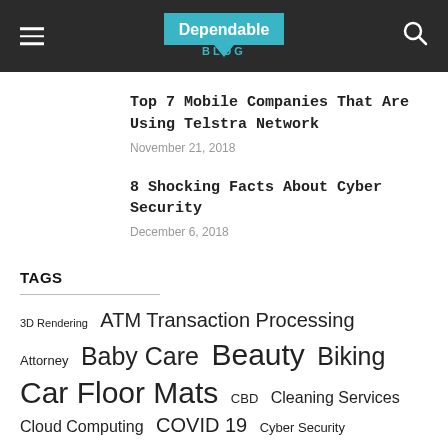Dependable BLOG
Top 7 Mobile Companies That Are Using Telstra Network
November 21, 2018
8 Shocking Facts About Cyber Security
December 6, 2018
TAGS
3D Rendering
ATM Transaction Processing
Attorney
Baby Care
Beauty
Biking
Car Floor Mats
CBD
Cleaning Services
Cloud Computing
COVID 19
Cyber Security